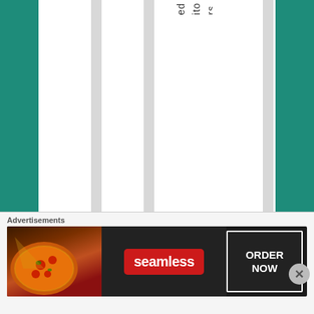editors of that book, SRK's negative rol
Advertisements
[Figure (other): Seamless food delivery advertisement banner showing pizza on left, Seamless logo in center, and ORDER NOW button on right]